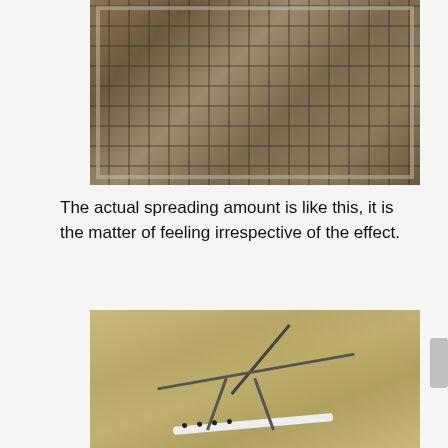[Figure (photo): A concrete or stone grid/slab with square recessed cells, lying on dry grass or straw background. The slab appears weathered with sand or soil deposits in the grid cells.]
The actual spreading amount is like this, it is the matter of feeling irrespective of the effect.
[Figure (photo): A lawn leveling rake or drag mat tool lying on sandy/sandy-textured grass turf. The tool has a long handle, a crossbar, and a flat base with visible attachment points.]